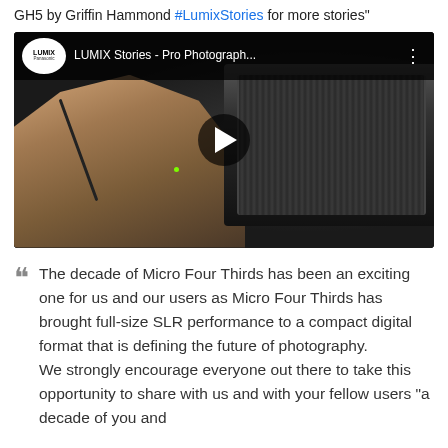GH5 by Griffin Hammond #LumixStories for more stories"
[Figure (screenshot): YouTube video thumbnail showing LUMIX Stories - Pro Photograph... video with a camera lens and hands holding a camera with a cable. LUMIX Panasonic logo visible in top left of player. Play button in center.]
The decade of Micro Four Thirds has been an exciting one for us and our users as Micro Four Thirds has brought full-size SLR performance to a compact digital format that is defining the future of photography. We strongly encourage everyone out there to take this opportunity to share with us and with your fellow users "a decade of you and